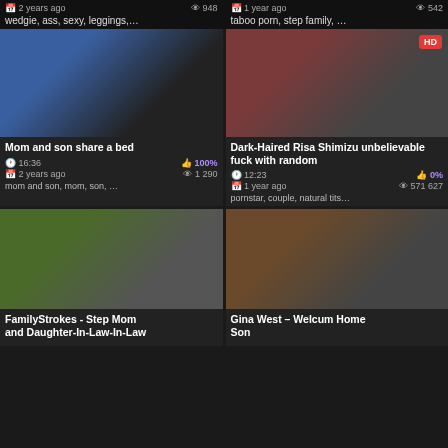2 years ago  948 | wedgie, ass, sexy, leggings,...
1 year ago  542 | taboo porn, step family, ...
[Figure (photo): Video thumbnail: Mom and son share a bed]
Mom and son share a bed
16:36  100%  2 years ago  1 290  mom and son, mom, son, ...
[Figure (photo): Video thumbnail: Dark-Haired Risa Shimizu unbelievable fuck with random, HD badge]
Dark-Haired Risa Shimizu unbelievable fuck with random
12:23  0%  1 year ago  571 627  pornstar, couple, natural tits...
[Figure (photo): Video thumbnail: FamilyStrokes - Step Mom and Daughter-In-Law-In-Law]
FamilyStrokes - Step Mom and Daughter-In-Law-In-Law
[Figure (photo): Video thumbnail: Gina West – Welcum Home Son]
Gina West – Welcum Home Son